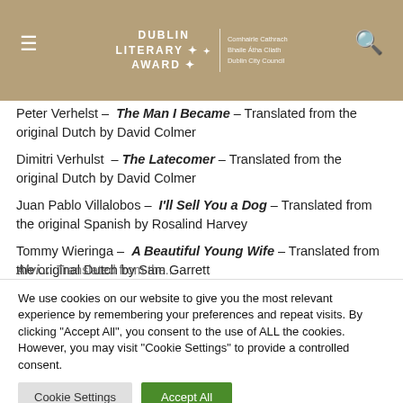DUBLIN LITERARY AWARD — Comhairle Cathrach Bhaile Átha Cliath Dublin City Council
Peter Verhelst – The Man I Became – Translated from the original Dutch by David Colmer
Dimitri Verhulst – The Latecomer – Translated from the original Dutch by David Colmer
Juan Pablo Villalobos – I'll Sell You a Dog – Translated from the original Spanish by Rosalind Harvey
Tommy Wieringa – A Beautiful Young Wife – Translated from the original Dutch by Sam Garrett
We use cookies on our website to give you the most relevant experience by remembering your preferences and repeat visits. By clicking "Accept All", you consent to the use of ALL the cookies. However, you may visit "Cookie Settings" to provide a controlled consent.